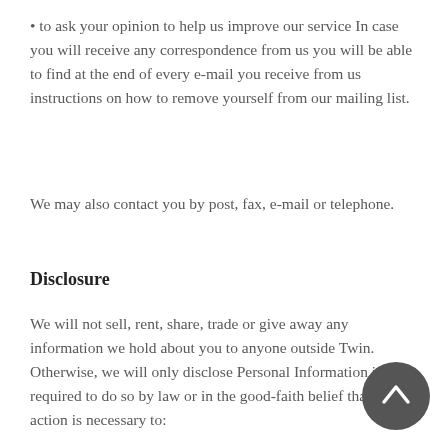• to ask your opinion to help us improve our service In case you will receive any correspondence from us you will be able to find at the end of every e-mail you receive from us instructions on how to remove yourself from our mailing list.
We may also contact you by post, fax, e-mail or telephone.
Disclosure
We will not sell, rent, share, trade or give away any information we hold about you to anyone outside Twin. Otherwise, we will only disclose Personal Information if required to do so by law or in the good-faith belief that such action is necessary to: